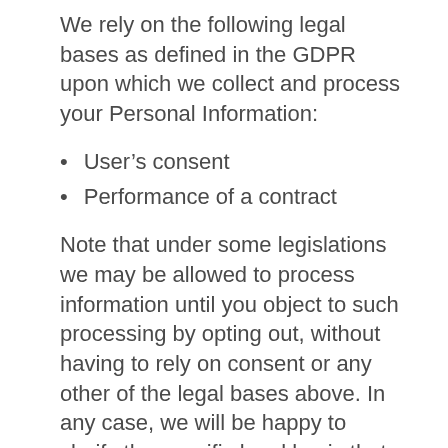We rely on the following legal bases as defined in the GDPR upon which we collect and process your Personal Information:
User’s consent
Performance of a contract
Note that under some legislations we may be allowed to process information until you object to such processing by opting out, without having to rely on consent or any other of the legal bases above. In any case, we will be happy to clarify the specific legal basis that applies to the processing, and in particular whether the provision of Personal Information is a statutory or contractual requirement, or a requirement necessary to enter into a contract.